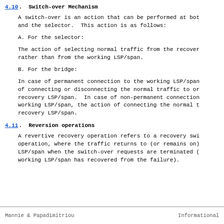4.10. Switch-over Mechanism
A switch-over is an action that can be performed at both the bridge and the selector.  This action is as follows:
A. For the selector:
The action of selecting normal traffic from the recovery LSP/span rather than from the working LSP/span.
B. For the bridge:
In case of permanent connection to the working LSP/span, the action of connecting or disconnecting the normal traffic to or from the recovery LSP/span.  In case of non-permanent connection to the working LSP/span, the action of connecting the normal traffic to the recovery LSP/span.
4.11. Reversion operations
A revertive recovery operation refers to a recovery switch-over operation, where the traffic returns to (or remains on) the working LSP/span when the switch-over requests are terminated (e.g., the working LSP/span has recovered from the failure).
Mannie & Papadimitriou        Informational